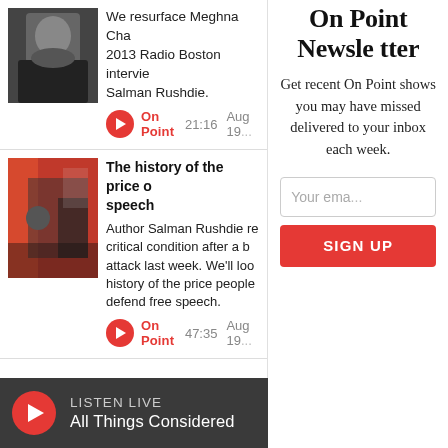[Figure (photo): Photo of a man in dark clergy/formal attire, partially visible at top]
We resurface Meghna Cha... 2013 Radio Boston intervie... Salman Rushdie.
On Point  21:16  Aug 19...
[Figure (photo): Photo of people in a room with cameras and press, red/orange background]
The history of the price of free speech
Author Salman Rushdie re... critical condition after a b... attack last week. We'll look... history of the price people... defend free speech.
On Point  47:35  Aug 19...
On Point Newsletter
Get recent On Point shows you may have missed delivered to your inbox each week.
Your ema...
SIGN UP
LISTEN LIVE  All Things Considered